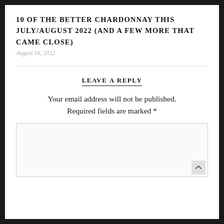10 OF THE BETTER CHARDONNAY THIS JULY/AUGUST 2022 (AND A FEW MORE THAT CAME CLOSE)
August 16, 2022
LEAVE A REPLY
Your email address will not be published. Required fields are marked *